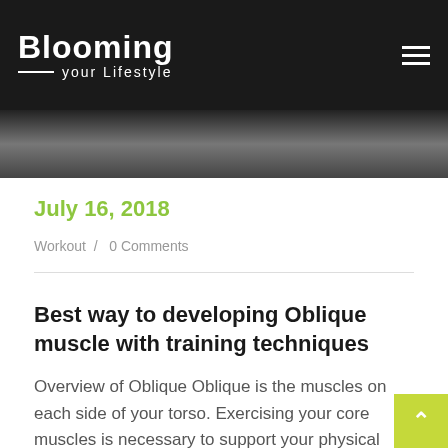Blooming your Lifestyle
[Figure (photo): Dark photo strip showing a person, partially visible, at top of content area]
July 16, 2018
Workout / 0 Comments
Best way to developing Oblique muscle with training techniques
Overview of Oblique Oblique is the muscles on each side of your torso. Exercising your core muscles is necessary to support your physical health. The obliques are perhaps one of the more difficult parts of the body to train. You